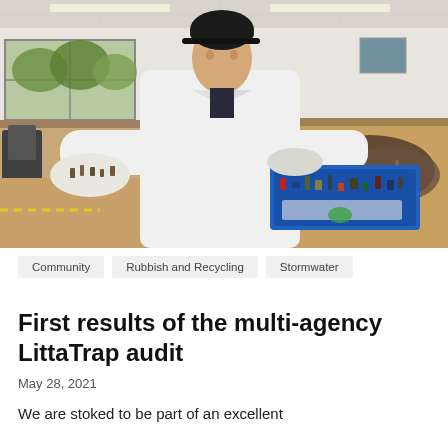[Figure (photo): A person in a white lab coat and white gloves stands in a laboratory or sorting facility, holding out a handful of small debris in one palm and holding a blue tray filled with mixed litter and debris in the other hand. Lab tables with sorted materials are visible in the background.]
Community
Rubbish and Recycling
Stormwater
First results of the multi-agency LittaTrap audit
May 28, 2021
We are stoked to be part of an excellent